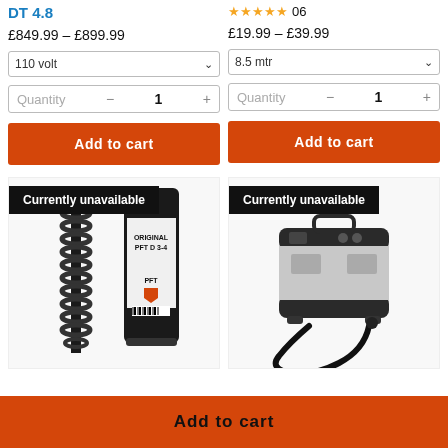DT 4.8
£849.99 – £899.99
110 volt
Quantity – 1 +
Add to cart
06
£19.99 – £39.99
8.5 mtr
Quantity – 1 +
Add to cart
[Figure (photo): Black spiral mixing screw and cylindrical Original PFT D 3-4 canister product]
Currently unavailable
[Figure (photo): Grey and black portable power pack / compressor unit with cable]
Currently unavailable
Add to cart